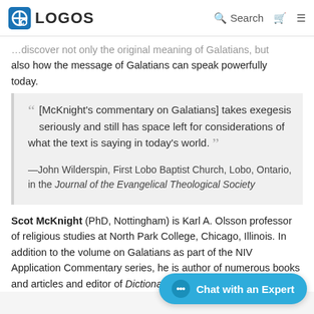LOGOS  Search
…discover not only the original meaning of Galatians, but also how the message of Galatians can speak powerfully today.
" [McKnight's commentary on Galatians] takes exegesis seriously and still has space left for considerations of what the text is saying in today's world. "
—John Wilderspin, First Lobo Baptist Church, Lobo, Ontario, in the Journal of the Evangelical Theological Society
Scot McKnight (PhD, Nottingham) is Karl A. Olsson professor of religious studies at North Park College, Chicago, Illinois. In addition to the volume on Galatians as part of the NIV Application Commentary series, he is author of numerous books and articles and editor of Dictionary of Jesus and the Gospels